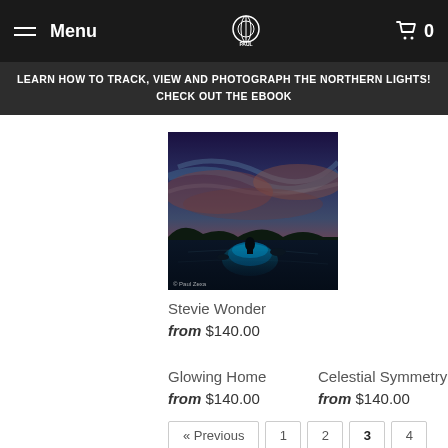Menu | Paul Zexa Studio | Cart 0
LEARN HOW TO TRACK, VIEW AND PHOTOGRAPH THE NORTHERN LIGHTS! CHECK OUT THE EBOOK
[Figure (photo): Night photography showing a figure standing in a lake with glowing blue light, mountains and colorful sky in the background - Stevie Wonder photograph]
Stevie Wonder
from $140.00
Glowing Home
from $140.00
Celestial Symmetry
from $140.00
« Previous  1  2  3  4
5  ...  9  Next »